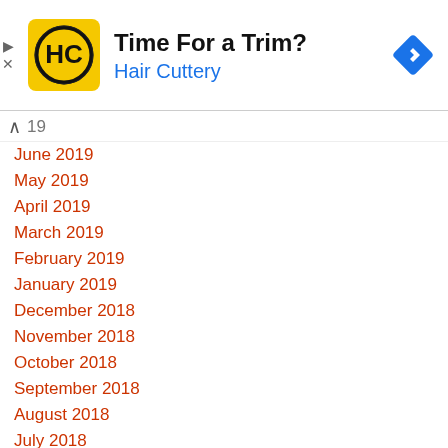[Figure (logo): Hair Cuttery advertisement banner with HC logo (black and yellow circle), title 'Time For a Trim?', subtitle 'Hair Cuttery' in blue, and a blue navigation/arrow diamond icon on the right.]
19
June 2019
May 2019
April 2019
March 2019
February 2019
January 2019
December 2018
November 2018
October 2018
September 2018
August 2018
July 2018
June 2018
May 2018
April 2018
March 2018